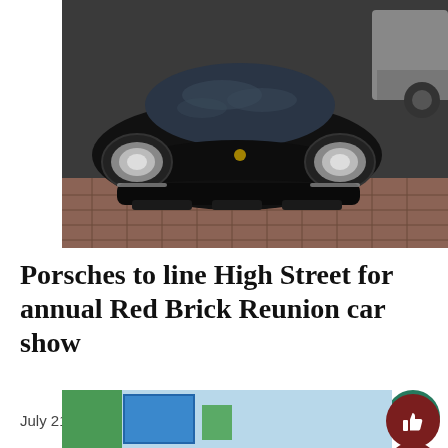[Figure (photo): Front view of a black Porsche 911 parked on a red brick surface, with another grey car partially visible in the upper right corner.]
Porsches to line High Street for annual Red Brick Reunion car show
July 21, 2022
[Figure (photo): Partial view of a blue building with greenery, bottom of page.]